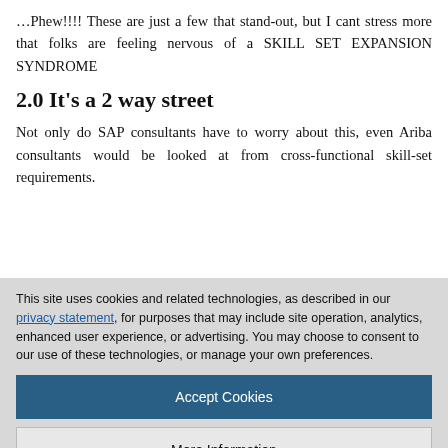…Phew!!!! These are just a few that stand-out, but I cant stress more that folks are feeling nervous of a SKILL SET EXPANSION SYNDROME
2.0 It's a 2 way street
Not only do SAP consultants have to worry about this, even Ariba consultants would be looked at from cross-functional skill-set requirements.
This site uses cookies and related technologies, as described in our privacy statement, for purposes that may include site operation, analytics, enhanced user experience, or advertising. You may choose to consent to our use of these technologies, or manage your own preferences.
Accept Cookies
More Information
Privacy Policy | Powered by: TrustArc